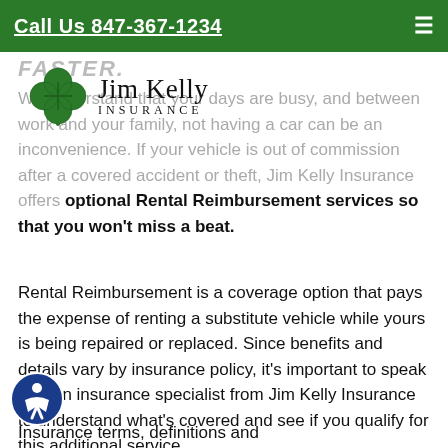Call Us 847-367-1234
[Figure (logo): Jim Kelly Insurance logo with green shamrock/clover and serif text 'Jim Kelly INSURANCE']
FASTER.
We understand that your days are busy, and between work and your family, not having a car can be an inconvenience. If your vehicle is out of commission after a covered accident or theft, Jim Kelly Insurance offers optional Rental Reimbursement services so that you won't miss a beat.
Rental Reimbursement is a coverage option that pays the expense of renting a substitute vehicle while yours is being repaired or replaced. Since benefits and details vary by insurance policy, it's important to speak with an insurance specialist from Jim Kelly Insurance to understand what's covered and see if you qualify for this additional service.
Insurance terms, definitions and